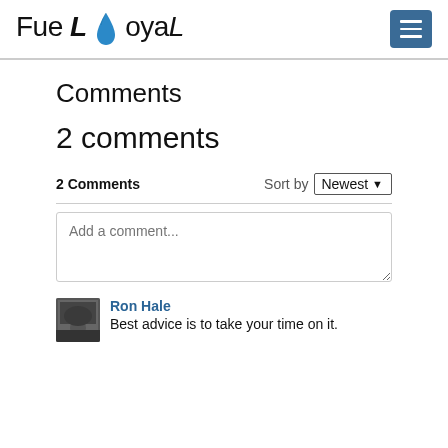[Figure (logo): FueLoyaL logo with blue water drop replacing the letter L, and a dark blue hamburger menu button on the right]
Comments
2 comments
2 Comments
Sort by Newest
Add a comment...
Ron Hale
Best advice is to take your time on it.